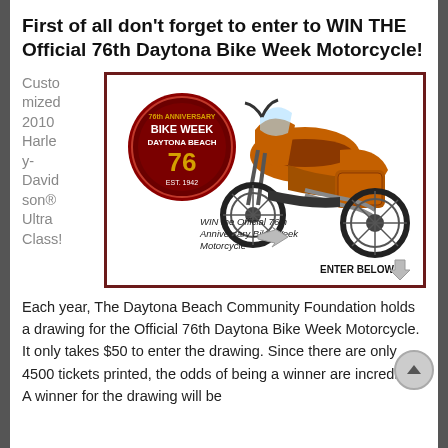First of all don't forget to enter to WIN THE Official 76th Daytona Bike Week Motorcycle!
Customized 2010 Harley-Davidson® Ultra Class!
[Figure (illustration): Promotional banner for the 76th Daytona Bike Week showing an orange Harley-Davidson motorcycle with the Bike Week Daytona Beach 76th anniversary logo on the left side. Text reads 'WIN the Official 76th Anniversary Bike Week Motorcycle' with arrows and 'ENTER BELOW!' at the bottom right.]
Each year, The Daytona Beach Community Foundation holds a drawing for the Official 76th Daytona Bike Week Motorcycle. It only takes $50 to enter the drawing. Since there are only 4500 tickets printed, the odds of being a winner are incredible. A winner for the drawing will be